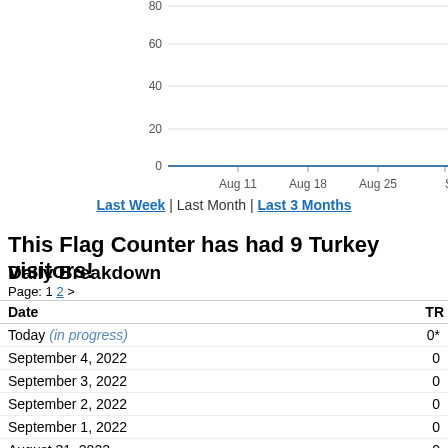[Figure (line-chart): Turkey visitors chart]
Last Week | Last Month | Last 3 Months
This Flag Counter has had 9 Turkey visitors!
Daily Breakdown
Page: 1 2 >
| Date | TR |
| --- | --- |
| Today (in progress) | 0* |
| September 4, 2022 | 0 |
| September 3, 2022 | 0 |
| September 2, 2022 | 0 |
| September 1, 2022 | 0 |
| August 31, 2022 | 0 |
| August 30, 2022 | 0 |
| August 29, 2022 | 0 |
| August 28, 2022 | 0 |